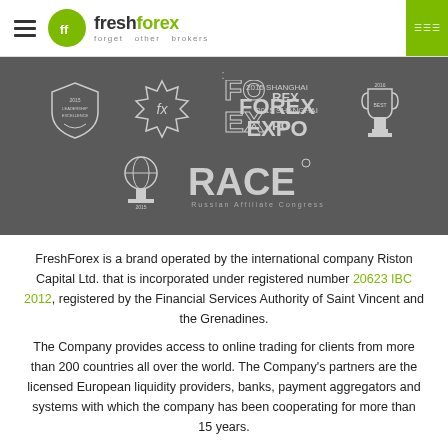[Figure (logo): FreshForex brand logo with hamburger menu, green circle icon with 'ff', bold text 'freshforex' and tagline 'forget other brokers', green accent bar on right]
[Figure (infographic): Dark grey awards banner showing multiple award logos: a shield/crest award, an 'fx' gear/star award, '2015 Shanghai FOREX EXPO' text logo, a trophy, a globe trophy, and 'RACE Russian Affiliate Congress' logo]
FreshForex is a brand operated by the international company Riston Capital Ltd. that is incorporated under registered number 20623 IBC 2012, registered by the Financial Services Authority of Saint Vincent and the Grenadines.
The Company provides access to online trading for clients from more than 200 countries all over the world. The Company's partners are the licensed European liquidity providers, banks, payment aggregators and systems with which the company has been cooperating for more than 15 years.